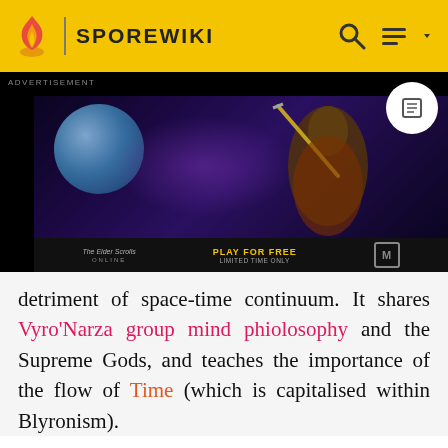SPOREWIKI
[Figure (screenshot): Advertisement banner showing The Elder Scrolls Online game with 'PLAY FOR FREE LIMITED TIME ONLY' text]
detriment of space-time continuum. It shares Vyro'Narza group mind phiolosophy and the Supreme Gods, and teaches the importance of the flow of Time (which is capitalised within Blyronism).
Blyronism focuses largely on a set of beliefs relating to the stability and flow of the space-time continuum. Though they believe in pre-defined fate and inevitability, as Time is taught as a river with many